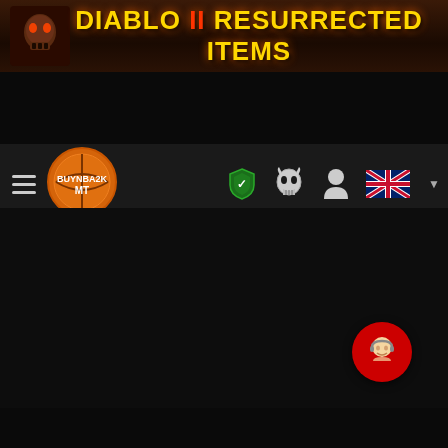[Figure (screenshot): Top banner with skull icon and 'DIABLO II RESURRECTED ITEMS' title in gold/red text on dark textured background]
[Figure (screenshot): Navigation bar with hamburger menu, BuyNba2K MT logo, shield icon, skull icon, user icon, UK flag and dropdown arrow]
[Figure (screenshot): Toolbar with Tracker search icon, Carts with badge showing 0, and Currency USD selector]
[Figure (screenshot): Dark main content area, mostly empty black background]
[Figure (screenshot): Red circular customer support chat button in bottom right corner]